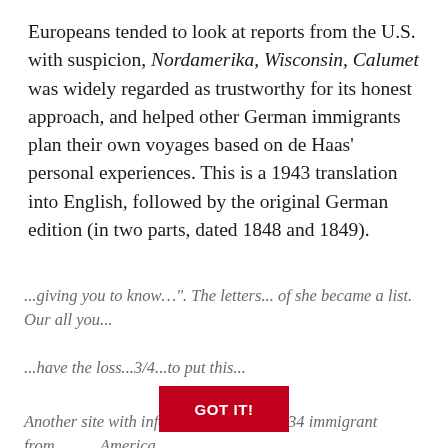Europeans tended to look at reports from the U.S. with suspicion, Nordamerika, Wisconsin, Calumet was widely regarded as trustworthy for its honest approach, and helped other German immigrants plan their own voyages based on de Haas' personal experiences. This is a 1943 translation into English, followed by the original German edition (in two parts, dated 1848 and 1849).
COOKIE NOTICE
We use cookies on this site. By continuing to browse without changing your browser settings to block or delete cookies, you agree to the UW–Madison Privacy Notice.
GOT IT!